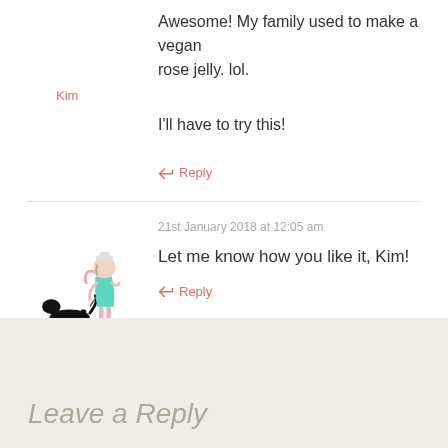Awesome! My family used to make a vegan rose jelly. lol.
Kim
I'll have to try this!
↪ Reply
21st January 2018 at 12:05 am
[Figure (illustration): Illustrated avatar of a woman in a teal dress and pink scarf walking a black dog on a leash]
★ Lina
Let me know how you like it, Kim!
↪ Reply
Leave a Reply